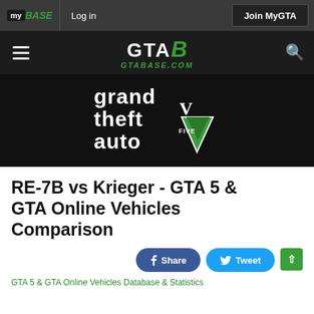my BASE | Log in | Join MyGTA
[Figure (logo): GTABASE.COM navigation bar with hamburger menu, GTA B logo in white and green, and search icon on dark background]
[Figure (logo): Grand Theft Auto V logo on black background]
RE-7B vs Krieger - GTA 5 & GTA Online Vehicles Comparison
[Figure (other): Share and Tweet social buttons]
GTA 5 & GTA Online Vehicles Database & Statistics